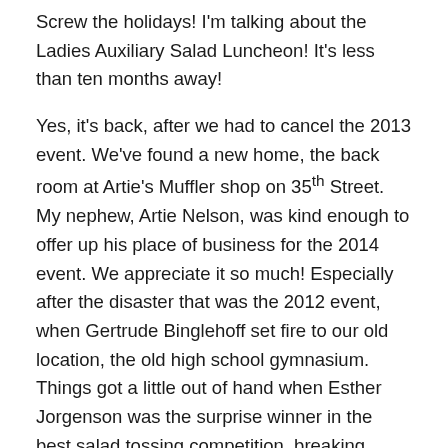Screw the holidays!  I'm talking about the Ladies Auxiliary Salad Luncheon!  It's less than ten months away!
Yes, it's back, after we had to cancel the 2013 event.  We've found a new home, the back room at Artie's Muffler shop on 35th Street.  My nephew, Artie Nelson, was kind enough to offer up his place of business for the 2014 event.  We appreciate it so much!  Especially after the disaster that was the 2012 event, when Gertrude Binglehoff set fire to our old location, the old high school gymnasium.  Things got a little out of hand when Esther Jorgenson was the surprise winner in the best salad tossing competition, breaking Gertrude's string of eleven consecutive years running.  Some say Esther's victory was politically motivated, but I don't believe it, just like I don't believe rumors of foul play in regards to